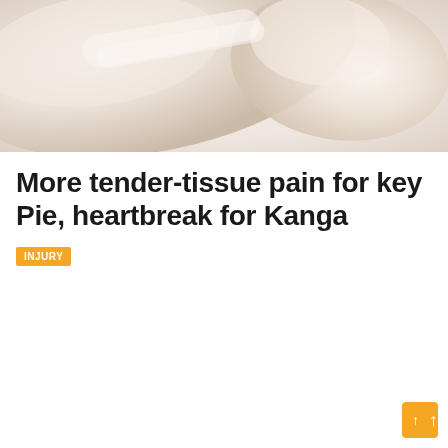[Figure (photo): Close-up photo of hands/arm with white bandage or wrapping, soft light background]
More tender-tissue pain for key Pie, heartbreak for Kanga
INJURY